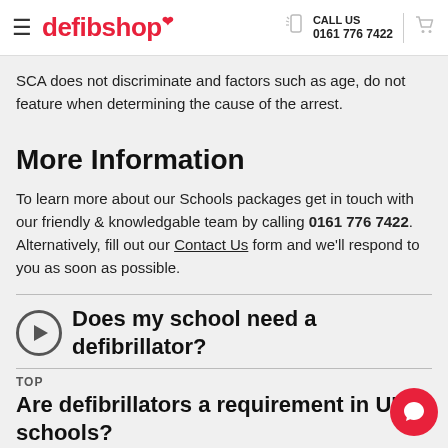defibshop | CALL US 0161 776 7422
SCA does not discriminate and factors such as age, do not feature when determining the cause of the arrest.
More Information
To learn more about our Schools packages get in touch with our friendly & knowledgable team by calling 0161 776 7422. Alternatively, fill out our Contact Us form and we'll respond to you as soon as possible.
Does my school need a defibrillator?
Are defibrillators a requirement in UK schools?